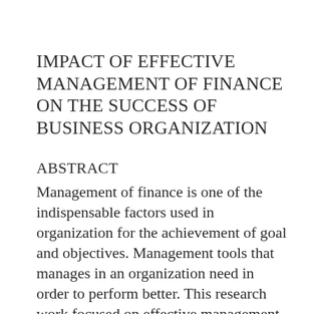IMPACT OF EFFECTIVE MANAGEMENT OF FINANCE ON THE SUCCESS OF BUSINESS ORGANIZATION
ABSTRACT
Management of finance is one of the indispensable factors used in organization for the achievement of goal and objectives. Management tools that manages in an organization need in order to perform better. This research work focused on effective management